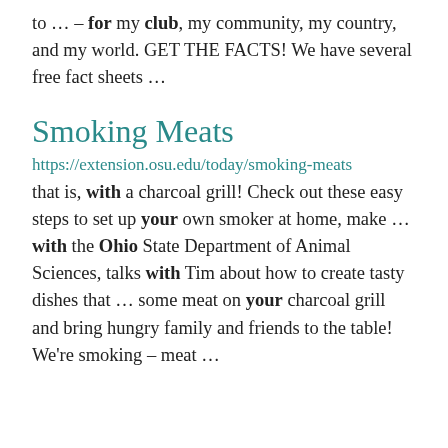to ... – for my club, my community, my country, and my world. GET THE FACTS! We have several free fact sheets ...
Smoking Meats
https://extension.osu.edu/today/smoking-meats
that is, with a charcoal grill! Check out these easy steps to set up your own smoker at home, make ... with the Ohio State Department of Animal Sciences, talks with Tim about how to create tasty dishes that ... some meat on your charcoal grill and bring hungry family and friends to the table! We're smoking – meat ...